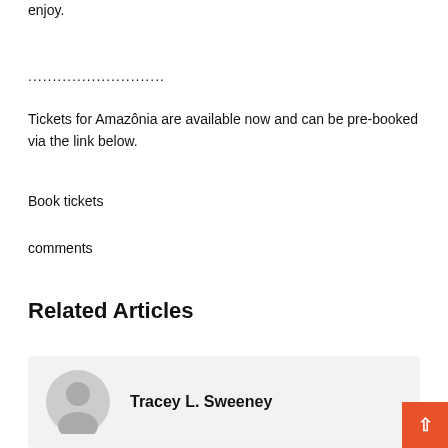enjoy.
............................
Tickets for Amazônia are available now and can be pre-booked via the link below.
Book tickets
comments
Related Articles
Tracey L. Sweeney